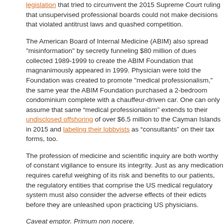legislation that tried to circumvent the 2015 Supreme Court ruling that unsupervised professional boards could not make decisions that violated antitrust laws and quashed competition.
The American Board of Internal Medicine (ABIM) also spread "misinformation" by secretly funneling $80 million of dues collected 1989-1999 to create the ABIM Foundation that  magnanimously appeared in 1999. Physician were told the Foundation was created to promote "medical professionalism," the same year the ABIM Foundation purchased a 2-bedroom condominium complete with a chauffeur-driven car. One can only assume that same “medical professionalism” extends to their undisclosed offshoring of over $6.5 million to the Cayman Islands in 2015 and labeling their lobbyists as “consultants” on their tax forms, too.
The profession of medicine and scientific inquiry are both worthy of constant vigilance to ensure its integrity. Just as any medication requires careful weighing of its risk and benefits to our patients, the regulatory entities that comprise the US medical regulatory system must also consider the adverse effects of their edicts before they are unleashed upon practicing US physicians.
Caveat emptor. Primum non nocere.
-Wes